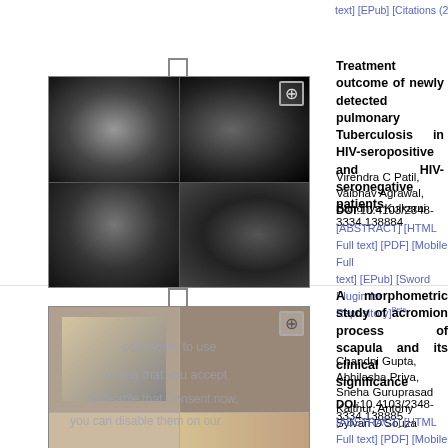text]  [EPub]  [Citations (2) ]  [Sword Plugin for Repository]Beta
[Figure (photo): Four-panel chest X-ray grid thumbnail for TB article with zoom icon]
Treatment outcome of newly detected pulmonary Tuberculosis in HIV-seropositive and HIV-seronegative patients
Virendra C Patil, Vaibhav Agrawal, Sandhya Kulkarni
DOI:10.4103/2348-3334.138884
[ABSTRACT]  [HTML Full text]  [PDF]  [Mobile Full text]  [EPub]  [Sword Plugin for Repository]Beta
[Figure (photo): Multi-panel photo thumbnail for acromion process/scapula article with zoom icon]
A morphometric study of acromion process of scapula and its clinical significance
Chandni Gupta, Abhilasha Priya, Sneha Guruprasad Kalthur, Antony Sylvan D'Souza
DOI:10.4103/2348-3334.138885
[ABSTRACT]  [HTML Full text]  [PDF]  [Mobile Full text]  [EPub]  [Citations (4) ]  [Sword Plugin for Repository]Beta
[Figure (bar-chart): Bar chart thumbnail for cerebral palsy article with zoom icon]
A study on the awareness, beliefs, and service utilization among families of children with cerebral palsy in Jalandhar District of Punjab
Raju Sharma, A G K Sinha
DOI:10.4103/2348-3334.138886
[ABSTRACT]  [HTML Full text]  [PDF]  [Mobile Full text]  [EPub]  [Citations (6) ]  [Sword Plugin for Repository]Beta